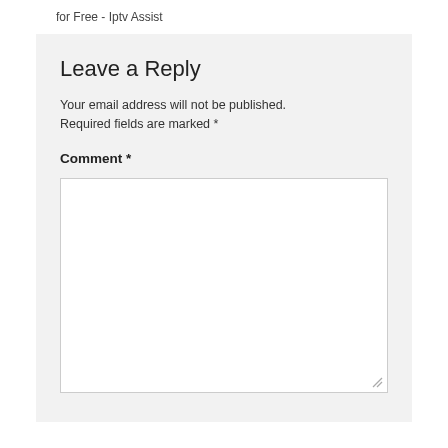for Free - Iptv Assist
Leave a Reply
Your email address will not be published. Required fields are marked *
Comment *